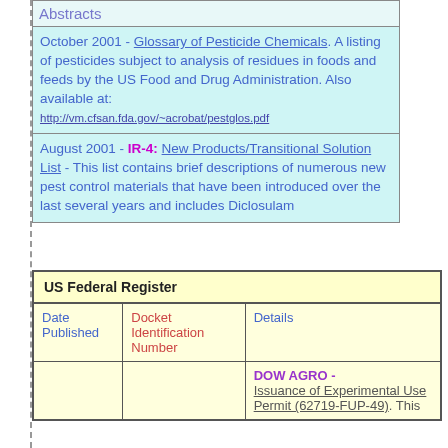Abstracts
October 2001 - Glossary of Pesticide Chemicals. A listing of pesticides subject to analysis of residues in foods and feeds by the US Food and Drug Administration. Also available at: http://vm.cfsan.fda.gov/~acrobat/pestglos.pdf
August 2001 - IR-4: New Products/Transitional Solution List - This list contains brief descriptions of numerous new pest control materials that have been introduced over the last several years and includes Diclosulam
| US Federal Register |  |  |
| --- | --- | --- |
| Date Published | Docket Identification Number | Details |
|  |  | DOW AGRO - Issuance of Experimental Use Permit (62719-FUP-49). This |